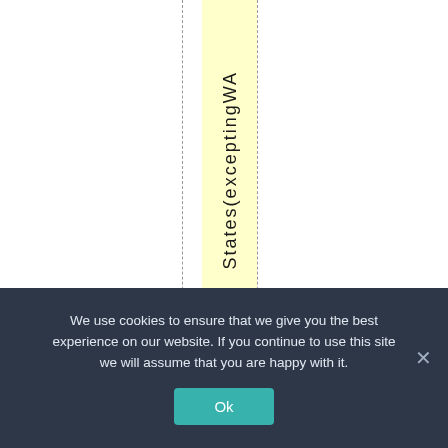| States(exceptingWA |
We use cookies to ensure that we give you the best experience on our website. If you continue to use this site we will assume that you are happy with it. Ok